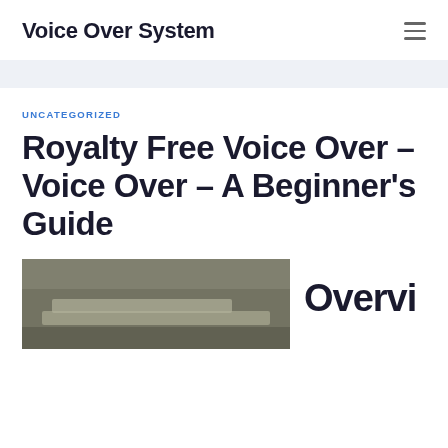Voice Over System
UNCATEGORIZED
Royalty Free Voice Over – Voice Over – A Beginner's Guide
[Figure (photo): A dimly lit room with what appears to be a desk or table, possibly a recording or studio environment.]
Overvi